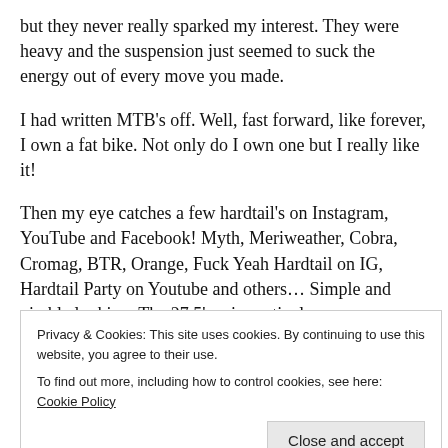but they never really sparked my interest. They were heavy and the suspension just seemed to suck the energy out of every move you made.
I had written MTB's off. Well, fast forward, like forever, I own a fat bike. Not only do I own one but I really like it!
Then my eye catches a few hardtail's on Instagram, YouTube and Facebook! Myth, Meriweather, Cobra, Cromag, BTR, Orange, Fuck Yeah Hardtail on IG, Hardtail Party on Youtube and others… Simple and nimble looking. The 27.5'ers in particular.
Privacy & Cookies: This site uses cookies. By continuing to use this website, you agree to their use.
To find out more, including how to control cookies, see here: Cookie Policy
[Figure (other): Partial view of a bicycle component dimension diagram showing 495.3mm measurement]